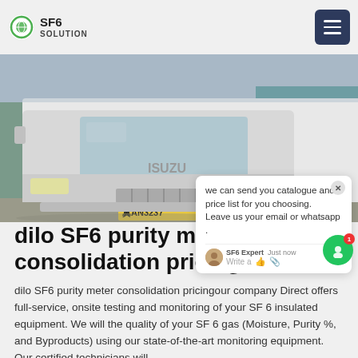SF6 SOLUTION
[Figure (photo): Front view of a white Isuzu truck parked in front of a building with Chinese signage reading 国家电网 (State Grid). The truck has a yellow license plate reading 冀AN3237.]
we can send you catalogue and price list for you choosing. Leave us your email or whatsapp .
dilo SF6 purity meter consolidation pricing
dilo SF6 purity meter consolidation pricingour company Direct offers full-service, onsite testing and monitoring of your SF 6 insulated equipment. We will the quality of your SF 6 gas (Moisture, Purity %, and Byproducts) using our state-of-the-art monitoring equipment. Our certified technicians will